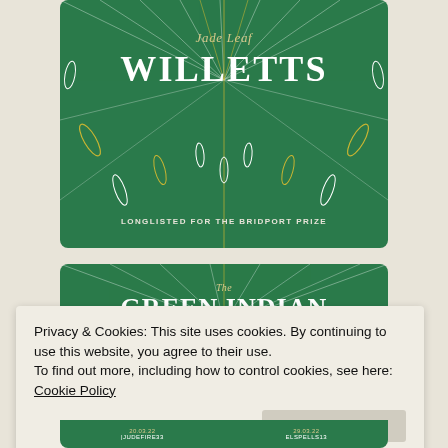[Figure (illustration): Book cover for 'Jade Leaf Willetts' on a dark green background with radiating feather/leaf illustrations in white and gold. Text reads 'Jade Leaf WILLETTS' and 'LONGLISTED FOR THE BRIDPORT PRIZE'.]
[Figure (illustration): Book cover for 'The Green Indian Problem' on a dark green background with feather/ray decorations. Subtitle: 'An ordinary boy with an extraordinary problem: everyone thinks he's a girl'. Shows blog tour dates with BOOK_GIRL85 and LAURAJROACH.]
Privacy & Cookies: This site uses cookies. By continuing to use this website, you agree to their use.
To find out more, including how to control cookies, see here: Cookie Policy
Close and accept